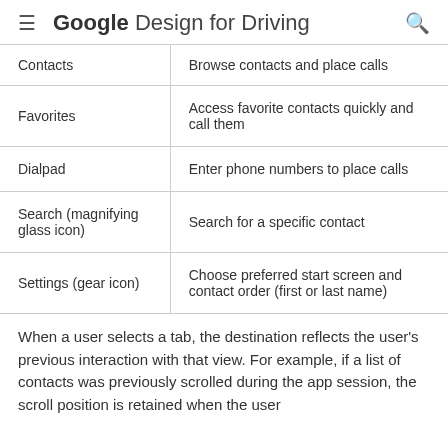Google Design for Driving
| Contacts | Browse contacts and place calls |
| Favorites | Access favorite contacts quickly and call them |
| Dialpad | Enter phone numbers to place calls |
| Search (magnifying glass icon) | Search for a specific contact |
| Settings (gear icon) | Choose preferred start screen and contact order (first or last name) |
When a user selects a tab, the destination reflects the user's previous interaction with that view. For example, if a list of contacts was previously scrolled during the app session, the scroll position is retained when the user